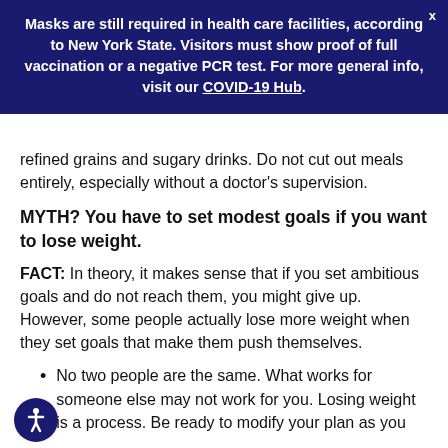Masks are still required in health care facilities, according to New York State. Visitors must show proof of full vaccination or a negative PCR test. For more general info, visit our COVID-19 Hub.
refined grains and sugary drinks. Do not cut out meals entirely, especially without a doctor's supervision.
MYTH? You have to set modest goals if you want to lose weight.
FACT: In theory, it makes sense that if you set ambitious goals and do not reach them, you might give up. However, some people actually lose more weight when they set goals that make them push themselves.
No two people are the same. What works for someone else may not work for you. Losing weight is a process. Be ready to modify your plan as you